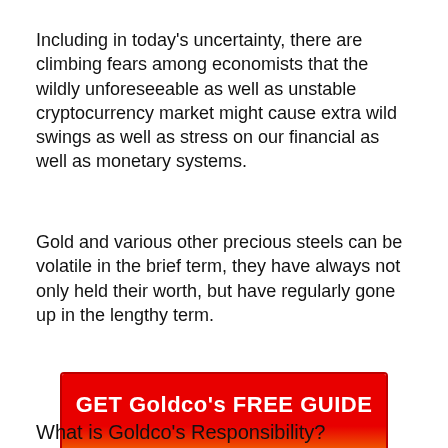Including in today's uncertainty, there are climbing fears among economists that the wildly unforeseeable as well as unstable cryptocurrency market might cause extra wild swings as well as stress on our financial as well as monetary systems.
Gold and various other precious steels can be volatile in the brief term, they have always not only held their worth, but have regularly gone up in the lengthy term.
[Figure (other): Red-to-orange gradient button with bold white text reading 'GET Goldco's FREE GUIDE']
What is Goldco's Responsibility?